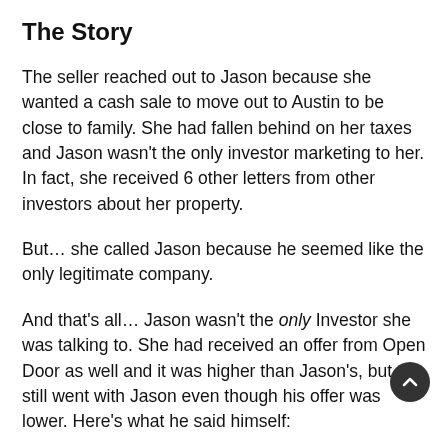The Story
The seller reached out to Jason because she wanted a cash sale to move out to Austin to be close to family. She had fallen behind on her taxes and Jason wasn't the only investor marketing to her. In fact, she received 6 other letters from other investors about her property.
But… she called Jason because he seemed like the only legitimate company.
And that's all… Jason wasn't the only Investor she was talking to. She had received an offer from Open Door as well and it was higher than Jason's, but she still went with Jason even though his offer was lower. Here's what he said himself: